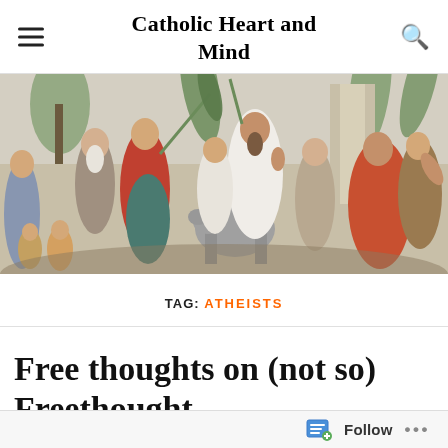Catholic Heart and Mind
[Figure (illustration): Religious painting depicting Jesus riding a donkey into Jerusalem (Palm Sunday / Entry into Jerusalem), surrounded by a crowd of people holding palm branches. Classical oil painting style with warm earth tones.]
TAG: ATHEISTS
Free thoughts on (not so) Freethought